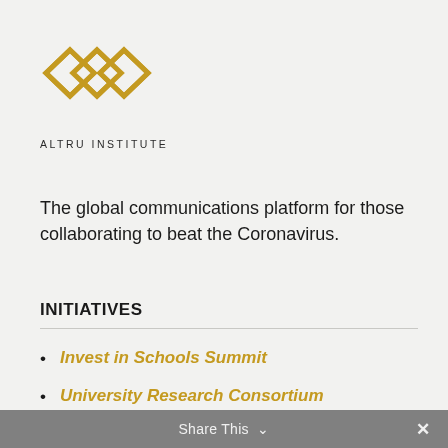[Figure (logo): Altru Institute logo: interlocking gold diamond shapes arranged in a 2x2 grid pattern, with text ALTRU INSTITUTE below]
The global communications platform for those collaborating to beat the Coronavirus.
INITIATIVES
Invest in Schools Summit
University Research Consortium
Impact Investment Network
Share This ∨  ✕